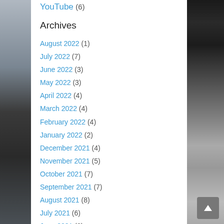YouTube (6)
Archives
August 2022 (1)
July 2022 (7)
June 2022 (3)
May 2022 (3)
April 2022 (4)
March 2022 (4)
February 2022 (4)
January 2022 (2)
December 2021 (4)
November 2021 (5)
October 2021 (7)
September 2021 (7)
August 2021 (8)
July 2021 (6)
June 2021 (8)
May 2021 (4)
April 2021 (5)